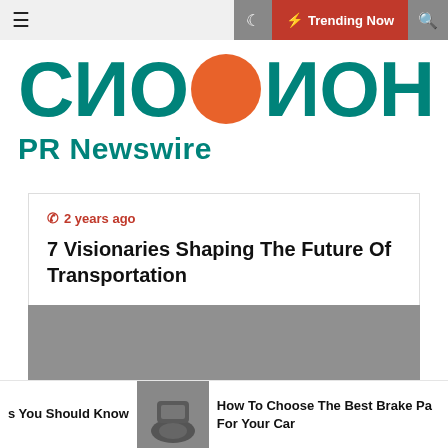Trending Now
[Figure (logo): СISION PR Newswire logo with teal letters and orange circle]
2 years ago
7 Visionaries Shaping The Future Of Transportation
[Figure (photo): Large gray placeholder image]
s You Should Know
[Figure (photo): Small thumbnail image of brake pads]
How To Choose The Best Brake Pads For Your Car